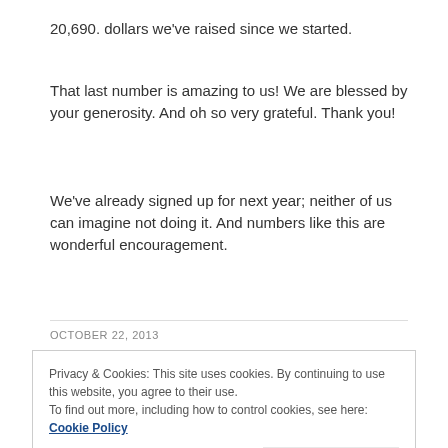20,690. dollars we've raised since we started.
That last number is amazing to us! We are blessed by your generosity. And oh so very grateful. Thank you!
We've already signed up for next year; neither of us can imagine not doing it. And numbers like this are wonderful encouragement.
OCTOBER 22, 2013
Privacy & Cookies: This site uses cookies. By continuing to use this website, you agree to their use.
To find out more, including how to control cookies, see here: Cookie Policy
Close and accept